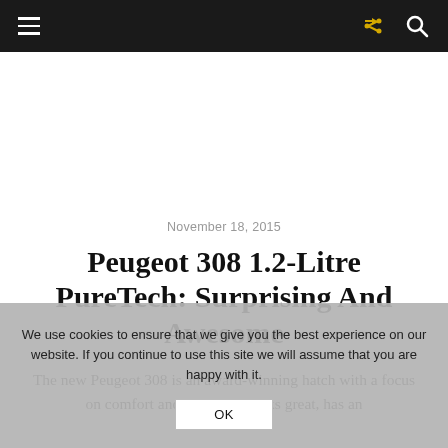Navigation bar with hamburger menu, share icon, and search icon
November 18, 2015
Peugeot 308 1.2-Litre PureTech: Surprising And Awesome
The new Peugeot 308 is an award-winning hatch with a focus on comfort and quality. It looks great, has an
We use cookies to ensure that we give you the best experience on our website. If you continue to use this site we will assume that you are happy with it. OK